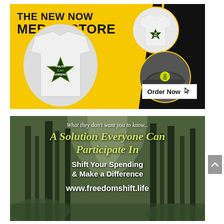[Figure (infographic): The New Now Merch Store advertisement banner with yellow background, black diagonal design, showing a white t-shirt with 'Truth is my Currency' badge on the back, a white t-shirt with logo on front, and a dark baseball cap with logo. 'Order Now' button with cursor icon.]
[Figure (infographic): Forest background advertisement with text: 'What they don't want you to know... A Solution Everyone Can Participate In. Shift Your Spending & Make a Difference. www.freedomshift.life']